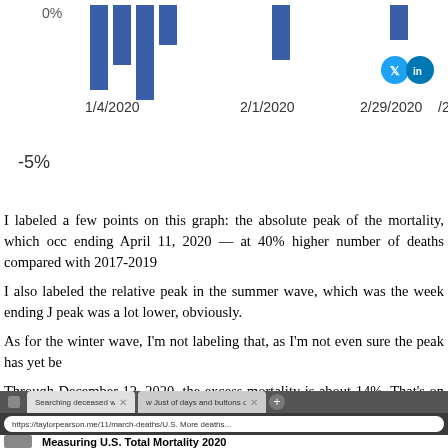[Figure (bar-chart): Partial bar chart showing weekly mortality percentage change with bars visible near 0% and -5% labels, x-axis dates 1/4/2020, 2/1/2020, 2/29/2020, and partial view]
I labeled a few points on this graph: the absolute peak of the mortality, which occ ending April 11, 2020 — at 40% higher number of deaths compared with 2017-2019
I also labeled the relative peak in the summer wave, which was the week ending J peak was a lot lower, obviously.
As for the winter wave, I'm not labeling that, as I'm not even sure the peak has yet be
Through December 12, 2020, the excess mortality is about 14%. That's on the lo projections, but partly due to missing December deaths and comparing to the 2 versus just comparing against 2019.
Videos of Age Slices
For those who prefer their slices by age in video form:
U.S. Total Mortality 2020 Age 75+
[Figure (screenshot): Browser screenshot showing a webpage about U.S. Total Mortality 2020 with browser tabs and URL bar visible]